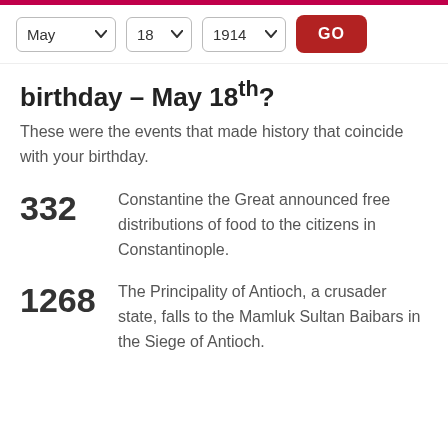May 18 1914 GO
birthday – May 18th?
These were the events that made history that coincide with your birthday.
332 – Constantine the Great announced free distributions of food to the citizens in Constantinople.
1268 – The Principality of Antioch, a crusader state, falls to the Mamluk Sultan Baibars in the Siege of Antioch.